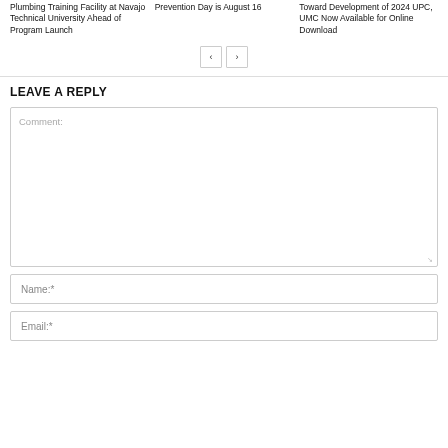Plumbing Training Facility at Navajo Technical University Ahead of Program Launch
Prevention Day is August 16
Toward Development of 2024 UPC, UMC Now Available for Online Download
LEAVE A REPLY
Comment:
Name:*
Email:*